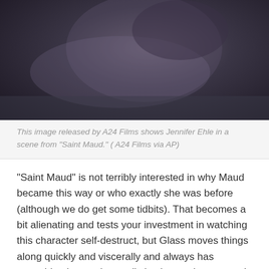[Figure (photo): Dark film still showing a person looking upward, from the movie Saint Maud, released by A24 Films]
This image released by A24 Films shows Jennifer Ehle in a scene from “Saint Maud.” ( A24 Films via AP)
“Saint Maud” is not terribly interested in why Maud became this way or who exactly she was before (although we do get some tidbits). That becomes a bit alienating and tests your investment in watching this character self-destruct, but Glass moves things along quickly and viscerally and always has something interesting or distinctive on the screen. It is also more restrained than, say, an Ari Aster horror. With “Saint Maud,” Glass firmly establishes herself as a filmmaker to watch.
[Figure (photo): Dark film still showing a person in dim lighting, from the movie Saint Maud]